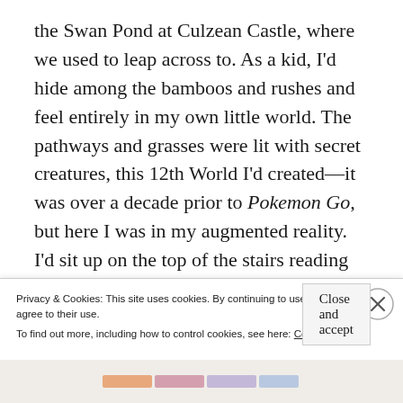the Swan Pond at Culzean Castle, where we used to leap across to. As a kid, I'd hide among the bamboos and rushes and feel entirely in my own little world. The pathways and grasses were lit with secret creatures, this 12th World I'd created—it was over a decade prior to Pokemon Go, but here I was in my augmented reality. I'd sit up on the top of the stairs reading for as late as possible, imagining that I was on top of a waterfall, and all before me was water cascading instead of carpet. I'd
Privacy & Cookies: This site uses cookies. By continuing to use this website, you agree to their use.
To find out more, including how to control cookies, see here: Cookie Policy
Close and accept